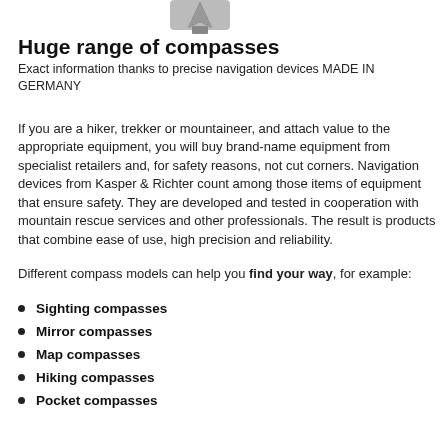[Figure (photo): Partial image of a compass at the top of the page]
Huge range of compasses
Exact information thanks to precise navigation devices MADE IN GERMANY
If you are a hiker, trekker or mountaineer, and attach value to the appropriate equipment, you will buy brand-name equipment from specialist retailers and, for safety reasons, not cut corners. Navigation devices from Kasper & Richter count among those items of equipment that ensure safety. They are developed and tested in cooperation with mountain rescue services and other professionals. The result is products that combine ease of use, high precision and reliability.
Different compass models can help you find your way, for example:
Sighting compasses
Mirror compasses
Map compasses
Hiking compasses
Pocket compasses